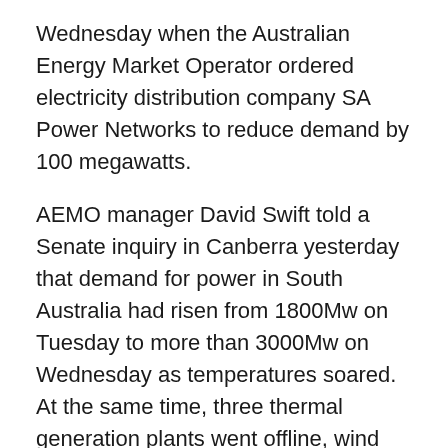Wednesday when the Australian Energy Market Operator ordered electricity distribution company SA Power Networks to reduce demand by 100 megawatts.
AEMO manager David Swift told a Senate inquiry in Canberra yesterday that demand for power in South Australia had risen from 1800Mw on Tuesday to more than 3000Mw on Wednesday as temperatures soared. At the same time, three thermal generation plants went offline, wind generation fell dramatically and solar power started to wane.
State opposition energy spokesman Dan van Holst Pellekaan said the Weatherill government had ignored repeated warnings of potential blackouts.
“The government’s own department warned that they were heading towards crashing into a brick wall, but it wasn’t